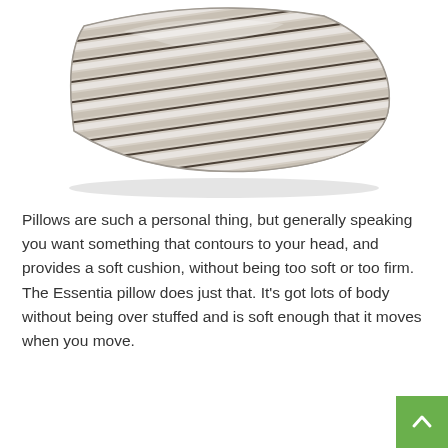[Figure (photo): A striped pillow with beige, white, and dark brown horizontal stripes, photographed on a white background at a slight angle showing its fluffy 3D form.]
Pillows are such a personal thing, but generally speaking you want something that contours to your head, and provides a soft cushion, without being too soft or too firm. The Essentia pillow does just that. It's got lots of body without being over stuffed and is soft enough that it moves when you move.